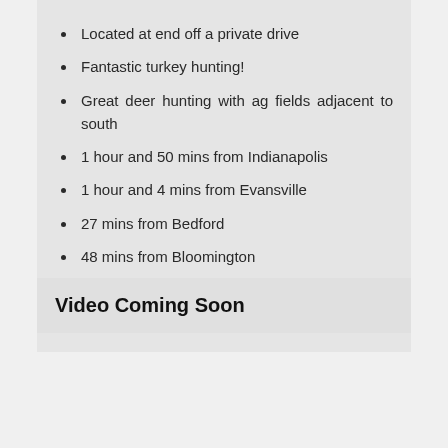Located at end off a private drive
Fantastic turkey hunting!
Great deer hunting with ag fields adjacent to south
1 hour and 50 mins from Indianapolis
1 hour and 4 mins from Evansville
27 mins from Bedford
48 mins from Bloomington
Video Coming Soon